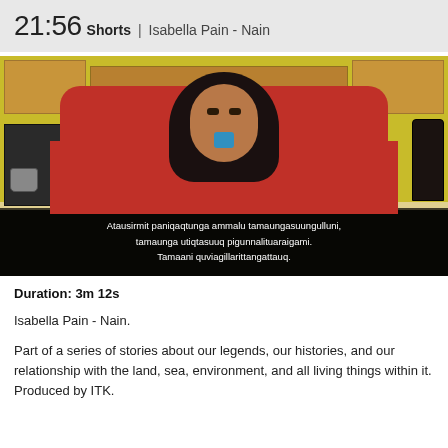21:56 Shorts | Isabella Pain - Nain
[Figure (photo): Video still of a woman with long dark hair wearing a red jacket, seated in a kitchen with yellow walls and wood cabinets. Subtitle text reads: Atausirmit paniqaqtunga ammalu tamaungasuungulluni, tamaunga utiqtasuuq pigunnalituaraigami. Tamaani quviagillarittangattauq.]
Duration: 3m 12s
Isabella Pain - Nain.
Part of a series of stories about our legends, our histories, and our relationship with the land, sea, environment, and all living things within it. Produced by ITK.